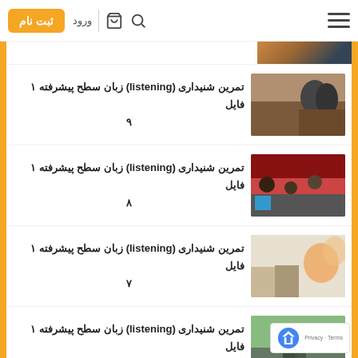ثبت نام | ورود
تمرین شنیداری (listening) زبان سطح پیشرفته ۱ فایل ۹
تمرین شنیداری (listening) زبان سطح پیشرفته ۱ فایل ۸
تمرین شنیداری (listening) زبان سطح پیشرفته ۱ فایل ۷
تمرین شنیداری (listening) زبان سطح پیشرفته ۱ فایل ۶